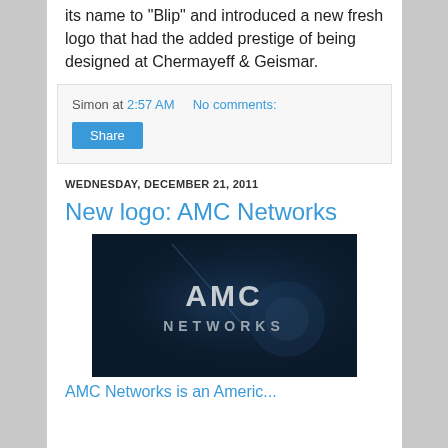its name to "Blip" and introduced a new fresh logo that had the added prestige of being designed at Chermayeff & Geismar.
Simon at 2:57 AM   No comments:
Share
WEDNESDAY, DECEMBER 21, 2011
New logo: AMC Networks
[Figure (photo): Dark background image showing the AMC Networks logo text in light grey/white letters on a dark navy/black background with subtle lighting effects]
AMC Networks is an Americ...